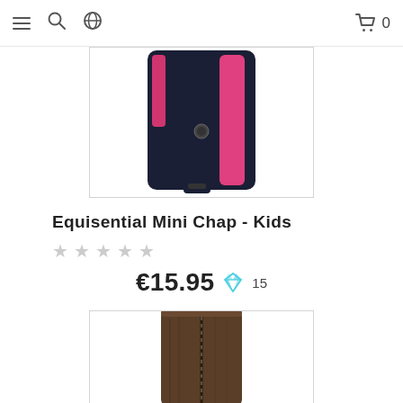Navigation bar with menu, search, globe, cart icons and cart count 0
[Figure (photo): Black and pink equestrian mini chap / half chap product, partially visible, cropped at top]
Equisential Mini Chap - Kids
★★★★★ (empty star rating, 0 reviews)
€15.95  ◆ 15
[Figure (photo): Brown leather or suede tall riding boot / half chap product image, partially visible at bottom of page]